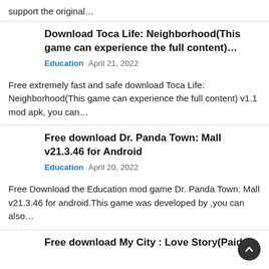support the original…
Download Toca Life: Neighborhood(This game can experience the full content)…
Education   April 21, 2022
Free extremely fast and safe download Toca Life: Neighborhood(This game can experience the full content) v1.1 mod apk, you can…
Free download Dr. Panda Town: Mall v21.3.46 for Android
Education   April 20, 2022
Free Download the Education mod game Dr. Panda Town: Mall v21.3.46 for android.This game was developed by ,you can also…
Free download My City : Love Story(Paid